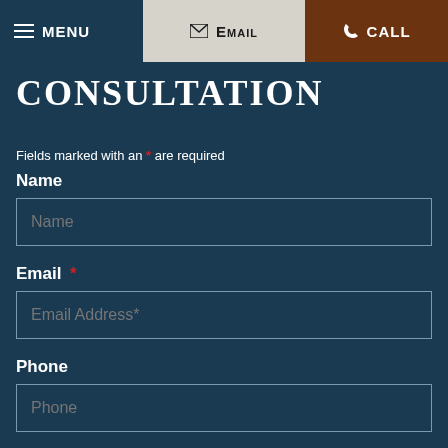MENU | EMAIL | CALL
CONSULTATION
Fields marked with an * are required
Name
Email *
Phone